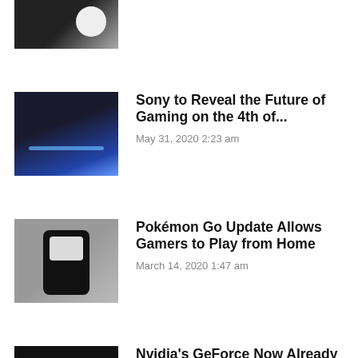[Figure (photo): Person wearing a dark graphic t-shirt, partially visible from below]
shirts Ideas
June 6, 2020 1:49 pm
[Figure (photo): Hands holding a blue PlayStation controller with a glowing light bar]
Sony to Reveal the Future of Gaming on the 4th of...
May 31, 2020 2:23 am
[Figure (photo): Hand holding a smartphone displaying the Pokémon Go app]
Pokémon Go Update Allows Gamers to Play from Home
March 14, 2020 1:47 am
[Figure (photo): Close-up of a keyboard, dark background]
Nvidia's GeForce Now Already